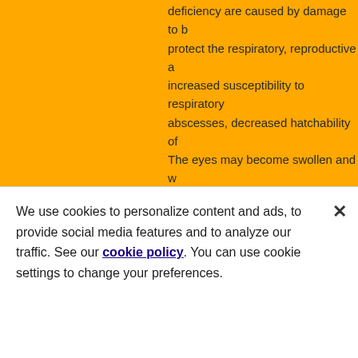deficiency are caused by damage to b protect the respiratory, reproductive a increased susceptibility to respiratory abscesses, decreased hatchability of The eyes may become swollen and w material may accumulate around the a visible inside the mouth. Birds genera caused by the weakened immune res deficiency rather than from the deficie
Effects of Excess Vitamin A
Unused fat soluble vitamins are not e mainly in the liver. Vitamin A is readily supplementation with cod liver oil or p potentially dangerous to your birds' he giving supplements to birds on a com
We use cookies to personalize content and ads, to provide social media features and to analyze our traffic. See our cookie policy. You can use cookie settings to change your preferences.